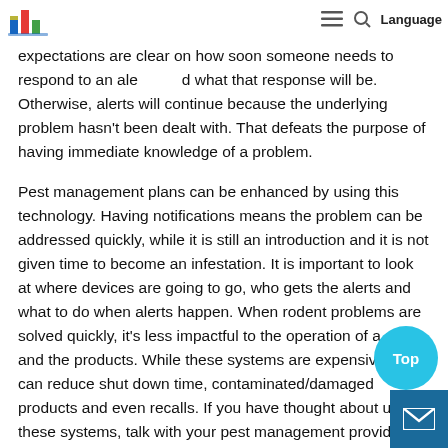Language
expectations are clear on how soon someone needs to respond to an alert and what that response will be. Otherwise, alerts will continue because the underlying problem hasn't been dealt with. That defeats the purpose of having immediate knowledge of a problem.
Pest management plans can be enhanced by using this technology. Having notifications means the problem can be addressed quickly, while it is still an introduction and it is not given time to become an infestation. It is important to look at where devices are going to go, who gets the alerts and what to do when alerts happen. When rodent problems are solved quickly, it's less impactful to the operation of a site and the products. While these systems are expensive, they can reduce shut down time, contaminated/damaged products and even recalls. If you have thought about using these systems, talk with your pest management provider and evaluate not just the cost and benefits, but what will be the best solution for your site. If you haven't thought about it yet, now is a great time to start.
We're all capable of great things if we keep at it and give ourse...